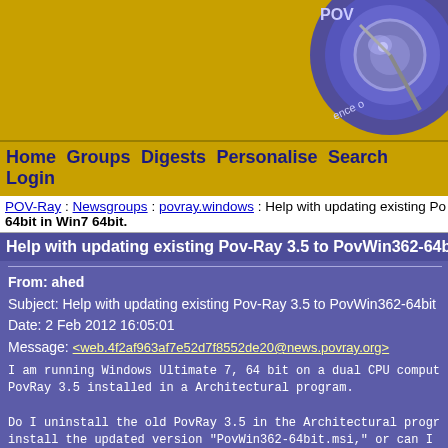[Figure (logo): POV-Ray logo with gear/lens graphic on golden background]
Home  Groups  Digests  Personalise  Search  Login
POV-Ray : Newsgroups : povray.windows : Help with updating existing Po... 64bit in Win7 64bit.
Help with updating existing Pov-Ray 3.5 to PovWin362-64bit in Win...
From: ahed
Subject: Help with updating existing Pov-Ray 3.5 to PovWin362-64bit
Date: 2 Feb 2012 16:05:01
Message: <web.4f2af963af7e52d7f8552de20@news.povray.org>
I am running Windows Ultimate 7, 64 bit on a dual CPU comput...
PovRay 3.5 installed in a Architectural program.

Do I uninstall the old PovRay 3.5 in the Architectural progr...
install the updated version "PovWin362-64bit.msi," or can I...
over top of the old one?

Which update is best for this system, the PovWin362-64bit.ms...
Pov-Ray 3.7 for Windows?

Are the Pov-Ray 3.7 for Windows 32 or 64 bits?

Appreciate any help I can get. ;-)

ahed